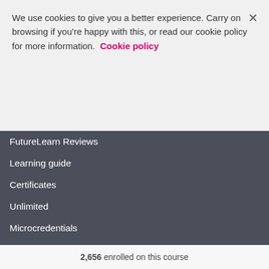We use cookies to give you a better experience. Carry on browsing if you're happy with this, or read our cookie policy for more information. Cookie policy
FutureLearn Reviews
Learning guide
Certificates
Unlimited
Microcredentials
ExpertTracks
Need some help?
2,656 enrolled on this course